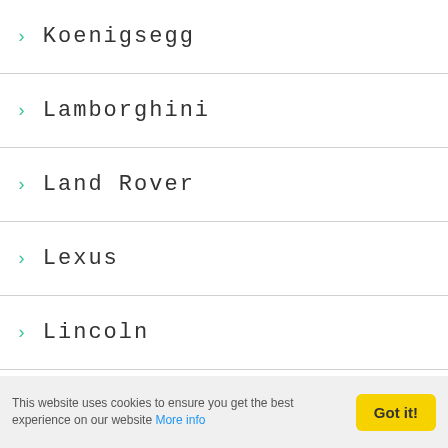Koenigsegg
Lamborghini
Land Rover
Lexus
Lincoln
Lotus
M-Sport
M3
M4
M8
Macan
Manta
This website uses cookies to ensure you get the best experience on our website More info
Got it!